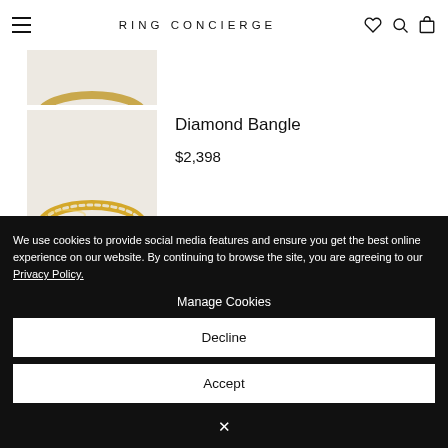RING CONCIERGE
[Figure (photo): Partial view of a gold jewelry item at the top of the page, cropped]
Diamond Bangle
$2,398
[Figure (photo): Gold diamond bangle bracelet on a light beige background]
We use cookies to provide social media features and ensure you get the best online experience on our website. By continuing to browse the site, you are agreeing to our Privacy Policy.
Manage Cookies
Decline
Accept